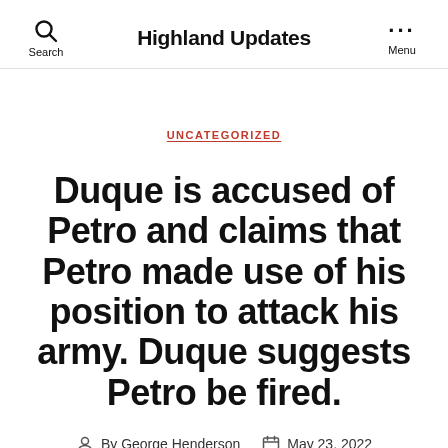Highland Updates
UNCATEGORIZED
Duque is accused of Petro and claims that Petro made use of his position to attack his army. Duque suggests Petro be fired.
By George Henderson   May 23, 2022